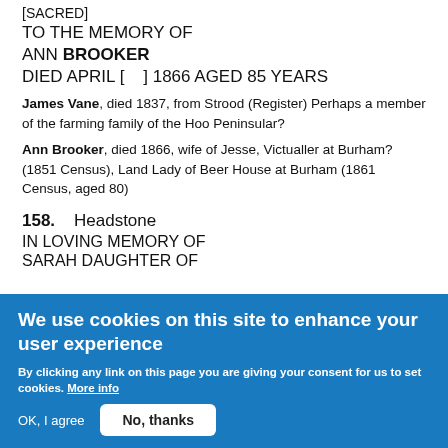[SACRED]
TO THE MEMORY OF
ANN BROOKER
DIED APRIL [    ] 1866 AGED 85 YEARS
James Vane, died 1837, from Strood (Register) Perhaps a member of the farming family of the Hoo Peninsular?
Ann Brooker, died 1866, wife of Jesse, Victualler at Burham? (1851 Census), Land Lady of Beer House at Burham (1861 Census, aged 80)
158.    Headstone
IN LOVING MEMORY OF
SARAH DAUGHTER OF
We use cookies on this site to enhance your user experience
By clicking any link on this page you are giving your consent for us to set cookies. More info
OK, I agree
No, thanks